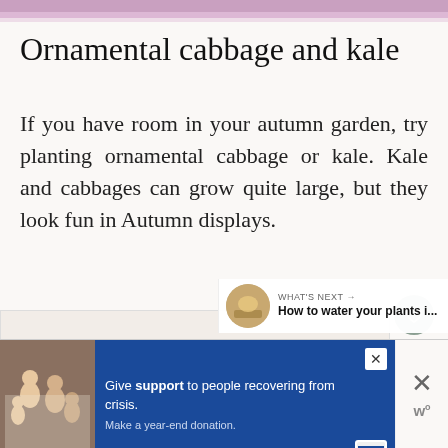[Figure (photo): Top portion of an image showing purple/pink flowers or ornamental plants, cropped at the top of the page]
Ornamental cabbage and kale
If you have room in your autumn garden, try planting ornamental cabbage or kale. Kale and cabbages can grow quite large, but they look fun in Autumn displays.
[Figure (screenshot): Light beige/cream content area placeholder below the main text]
WHAT'S NEXT → How to water your plants i...
[Figure (photo): Advertisement banner: image of family on left, blue background with text 'Give support to people recovering from crisis. Make a year-end donation.' with close button]